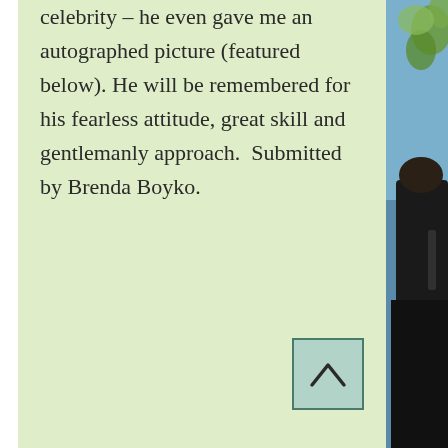celebrity – he even gave me an autographed picture (featured below). He will be remembered for his fearless attitude, great skill and gentlemanly approach.  Submitted by Brenda Boyko.
[Figure (other): A scroll-to-top button: a square with a light teal background and a dark border containing an upward-pointing chevron/caret symbol]
[Figure (photo): Partial photograph showing a person in a black jacket against a blue sky with tree branches visible, cropped at the right side of the page]